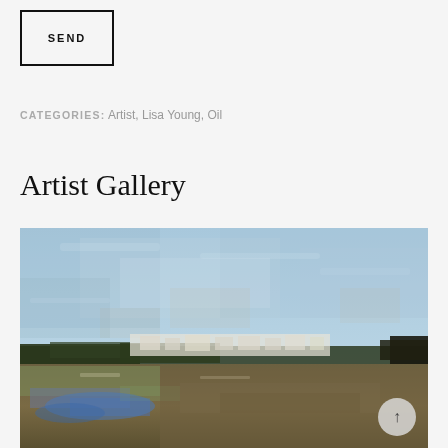SEND
CATEGORIES: Artist, Lisa Young, Oil
Artist Gallery
[Figure (photo): Oil painting of a coastal landscape with a textured pale blue sky, a distant town with white buildings along a shoreline, dark treeline, and a foreground of wet sand and shallow water with blues and earth tones.]